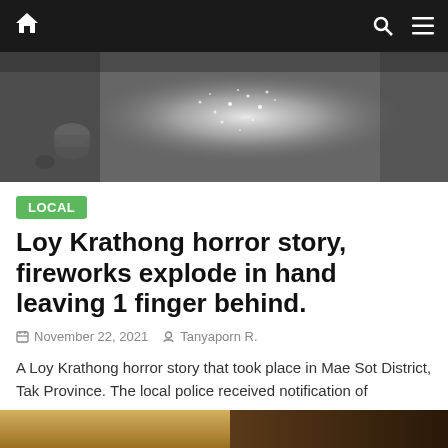Navigation bar with home icon, search icon, and menu icon
[Figure (photo): Black and white close-up photo of fireworks or sparklers exploding, with bright sparks visible]
LOCAL
Loy Krathong horror story, fireworks explode in hand leaving 1 finger behind.
November 22, 2021   Tanyaporn R.
A Loy Krathong horror story that took place in Mae Sot District, Tak Province. The local police received notification of
Read more